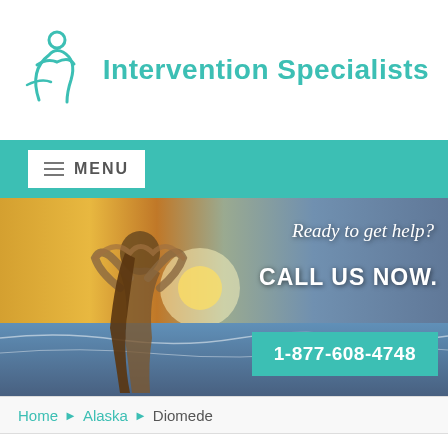[Figure (logo): Intervention Specialists logo with teal figure and text]
MENU
[Figure (photo): Woman on beach at sunset making heart shape with hands. Text overlay: Ready to get help? CALL US NOW. 1-877-608-4748]
Home › Alaska › Diomede
Tips For Holding a Drug and